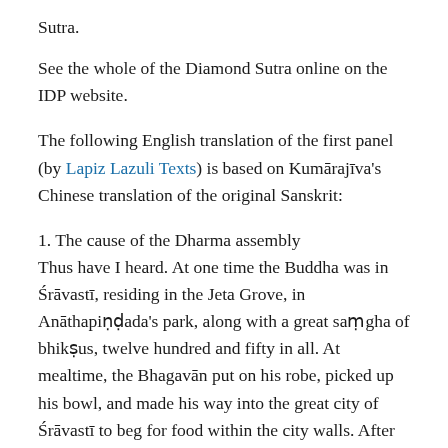Sutra.
See the whole of the Diamond Sutra online on the IDP website.
The following English translation of the first panel (by Lapiz Lazuli Texts) is based on Kumārajīva's Chinese translation of the original Sanskrit:
1. The cause of the Dharma assembly
Thus have I heard. At one time the Buddha was in Śrāvastī, residing in the Jeta Grove, in Anāthapiṇḍada's park, along with a great saṃgha of bhikṣus, twelve hundred and fifty in all. At mealtime, the Bhagavān put on his robe, picked up his bowl, and made his way into the great city of Śrāvastī to beg for food within the city walls. After he had finished begging sequentially from door to door, he returned and ate his meal. Then he put away his robe and bowl, washed his feet,